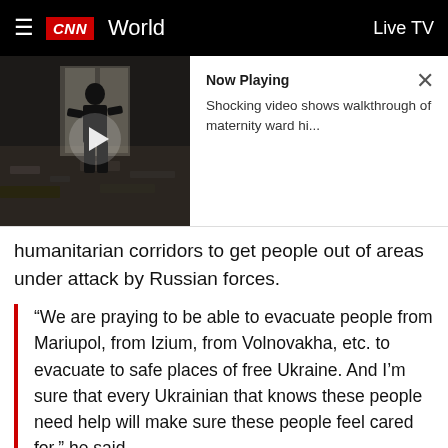CNN  World  Live TV
[Figure (screenshot): CNN video player showing a silhouetted person in a destroyed building. Now Playing panel on the right shows title: Shocking video shows walkthrough of maternity ward hi...]
humanitarian corridors to get people out of areas under attack by Russian forces.
“We are praying to be able to evacuate people from Mariupol, from Izium, from Volnovakha, etc. to evacuate to safe places of free Ukraine. And I’m sure that every Ukrainian that knows these people need help will make sure these people feel cared for,” he said.
While some routes were successful in evacuating people to safety, others had to be abandoned.